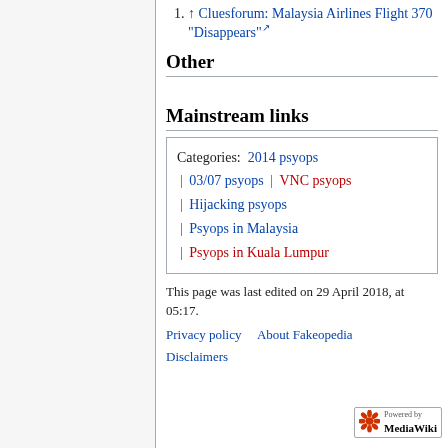↑ Cluesforum: Malaysia Airlines Flight 370 "Disappears" [external link]
Other
Mainstream links
| Categories:  2014 psyops  |  03/07 psyops  |  VNC psyops |
| |  Hijacking psyops |
| |  Psyops in Malaysia |
| |  Psyops in Kuala Lumpur |
This page was last edited on 29 April 2018, at 05:17.
Privacy policy   About Fakeopedia
Disclaimers